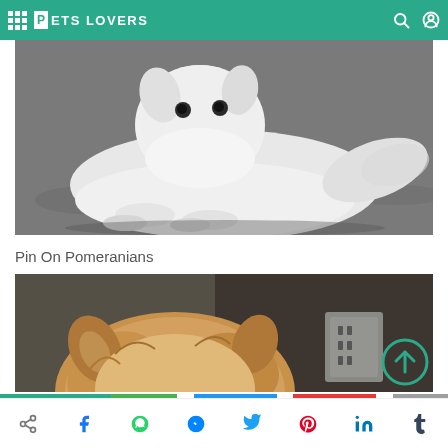PETS LOVERS
[Figure (photo): White fluffy dog lying on dark pavement, tongue slightly out, long fur, looking at camera]
Pin On Pomeranians
[Figure (photo): Close-up top view of small fluffy orange/cream Pomeranian dog near a wall outlet]